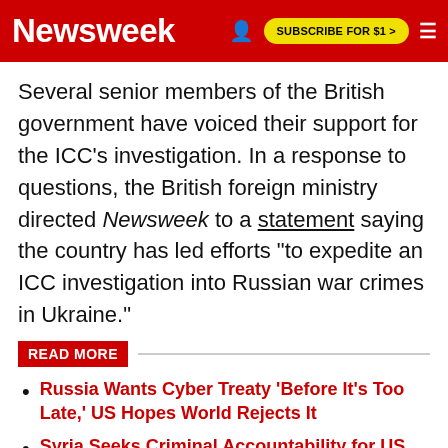Newsweek | SUBSCRIBE FOR $1 >
Several senior members of the British government have voiced their support for the ICC's investigation. In a response to questions, the British foreign ministry directed Newsweek to a statement saying the country has led efforts "to expedite an ICC investigation into Russian war crimes in Ukraine."
READ MORE
Russia Wants Cyber Treaty 'Before It's Too Late,' US Hopes World Rejects It
Syria Seeks Criminal Accountability for US